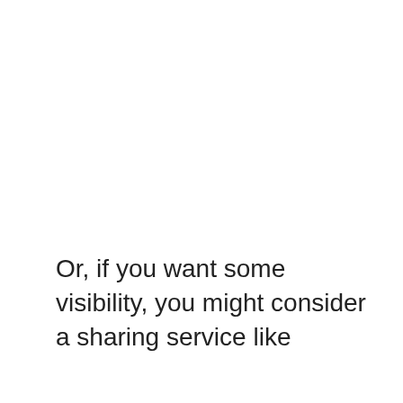Or, if you want some visibility, you might consider a sharing service like